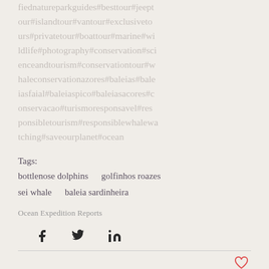fiednatureparkguides#besttour#jeeptour#islandtour#vantour#exclusivetours#privatetour#boattour#marine#wildlife#photography#conservation#scienceandtourism#conservationtour#whaleconservationazores#baleias#baleiasfaial#baleiaspico#baleiasacores#conservacao#turismoresponsavel#responsibletourism#responsiblewhalewatching#saveourplanet#ocean
Tags:
bottlenose dolphins   golfinhos roazes
sei whale   baleia sardinheira
Ocean Expedition Reports
[Figure (other): Social media sharing icons: Facebook, Twitter, LinkedIn]
[Figure (other): Heart/like icon in red outline]